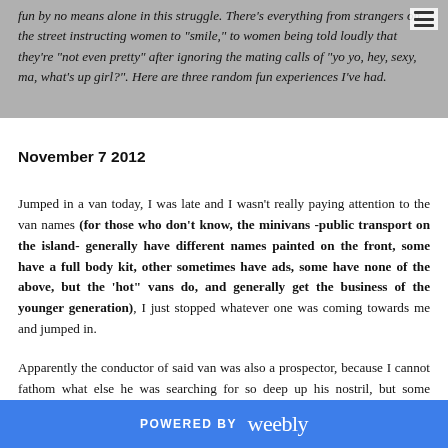fun by no means alone in this struggle. There's everything from strangers on the street instructing women to "smile," to women being told loudly that they're "not even pretty" after ignoring the mating calls of "yo yo, hey, sexy, ma, what's up girl?". Here are three random fun experiences I've had.
November 7 2012
Jumped in a van today, I was late and I wasn't really paying attention to the van names (for those who don't know, the minivans -public transport on the island- generally have different names painted on the front, some have a full body kit, other sometimes have ads, some have none of the above, but the 'hot" vans do, and generally get the business of the younger generation), I just stopped whatever one was coming towards me and jumped in.
Apparently the conductor of said van was also a prospector, because I cannot fathom what else he was searching for so deep up his nostril, but some nuggets of gold. Perhaps his right nostril is the entrance to Narnia, and someone was trying to pull him through by this index finger... I hope not or my childhood will be ruined. I'm almost certain that at some point, his entire
POWERED BY weebly